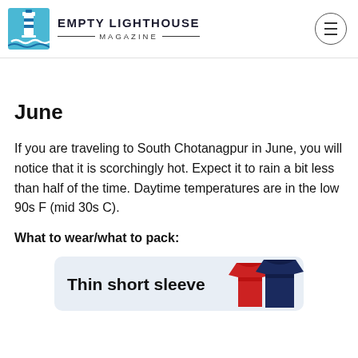EMPTY LIGHTHOUSE MAGAZINE
June
If you are traveling to South Chotanagpur in June, you will notice that it is scorchingly hot. Expect it to rain a bit less than half of the time. Daytime temperatures are in the low 90s F (mid 30s C).
What to wear/what to pack:
[Figure (other): Product card showing 'Thin short sleeve' text with image of red and navy shirts on light blue background]